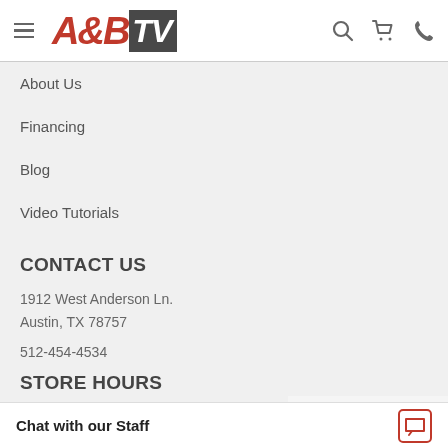[Figure (logo): A&B TV logo — A&B in red italic bold text, TV in white italic bold text on dark grey background, with hamburger menu icon and search, cart, phone icons]
About Us
Financing
Blog
Video Tutorials
CONTACT US
1912 West Anderson Ln.
Austin, TX 78757
512-454-4534
STORE HOURS
Monday - Saturday 10:00 AM
Sunday 10:00 AM - 6:00 PM
Chat with our Staff